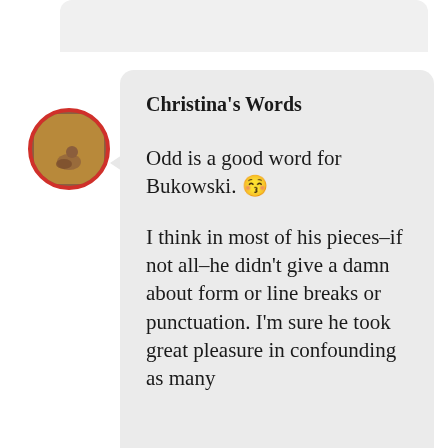[Figure (photo): Circular avatar photo with red border showing a person crouching in a field, used as a profile picture for 'Christina's Words' chat/blog]
Christina's Words
Odd is a good word for Bukowski. 😚
I think in most of his pieces–if not all–he didn't give a damn about form or line breaks or punctuation. I'm sure he took great pleasure in confounding as many